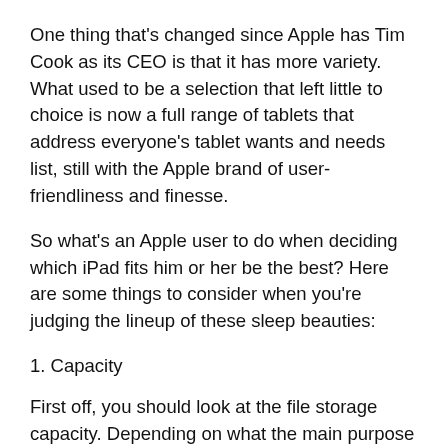One thing that's changed since Apple has Tim Cook as its CEO is that it has more variety. What used to be a selection that left little to choice is now a full range of tablets that address everyone's tablet wants and needs list, still with the Apple brand of user-friendliness and finesse.
So what's an Apple user to do when deciding which iPad fits him or her be the best? Here are some things to consider when you're judging the lineup of these sleep beauties:
1. Capacity
First off, you should look at the file storage capacity. Depending on what the main purpose of your iPad and what other devices you have, you may need a 16 gig, a 32 gig or a 64 gigabyte version. If all you plan to use